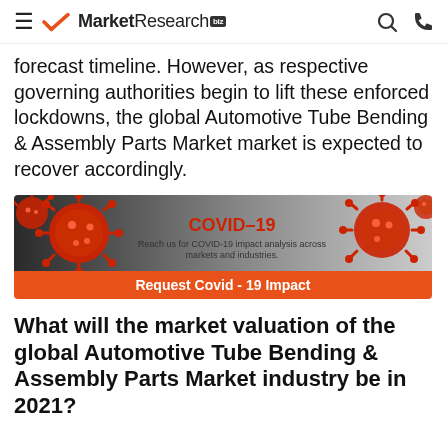MarketResearch.biz
forecast timeline. However, as respective governing authorities begin to lift these enforced lockdowns, the global Automotive Tube Bending & Assembly Parts Market market is expected to recover accordingly.
[Figure (infographic): COVID-19 banner with coronavirus illustration. Text reads: COVID-19 - Reach us for COVID-19 impact analysis across markets and industries. Orange bar at bottom: Request Covid - 19 Impact]
What will the market valuation of the global Automotive Tube Bending & Assembly Parts Market industry be in 2021?